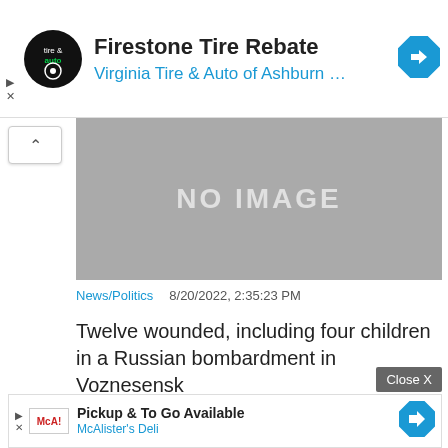[Figure (screenshot): Top advertisement banner for Firestone Tire Rebate by Virginia Tire & Auto of Ashburn with logo and navigation arrow icon]
[Figure (screenshot): Gray placeholder image with text NO IMAGE]
News/Politics
8/20/2022, 2:35:23 PM
Twelve wounded, including four children in a Russian bombardment in Voznesensk
[Figure (screenshot): Bottom advertisement for Pickup & To Go Available by McAlister's Deli with logo and navigation arrow icon]